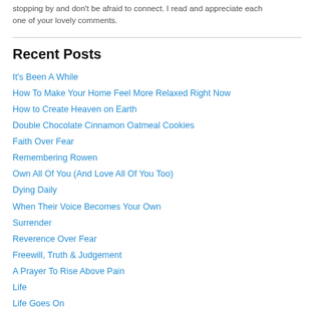stopping by and don't be afraid to connect. I read and appreciate each one of your lovely comments.
Recent Posts
It's Been A While
How To Make Your Home Feel More Relaxed Right Now
How to Create Heaven on Earth
Double Chocolate Cinnamon Oatmeal Cookies
Faith Over Fear
Remembering Rowen
Own All Of You (And Love All Of You Too)
Dying Daily
When Their Voice Becomes Your Own
Surrender
Reverence Over Fear
Freewill, Truth & Judgement
A Prayer To Rise Above Pain
Life
Life Goes On